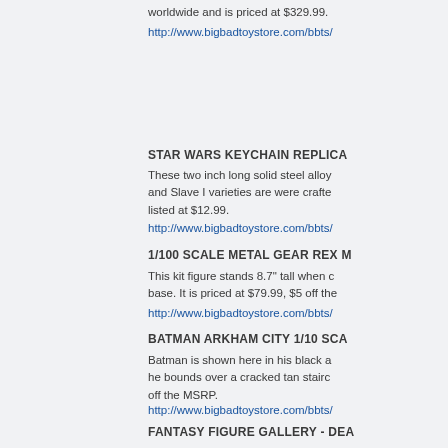worldwide and is priced at $329.99.
http://www.bigbadtoystore.com/bbts/
STAR WARS KEYCHAIN REPLICA
These two inch long solid steel alloy and Slave I varieties are were crafted listed at $12.99.
http://www.bigbadtoystore.com/bbts/
1/100 SCALE METAL GEAR REX M
This kit figure stands 8.7" tall when c base. It is priced at $79.99, $5 off the
http://www.bigbadtoystore.com/bbts/
BATMAN ARKHAM CITY 1/10 SCA
Batman is shown here in his black a he bounds over a cracked tan stairc off the MSRP.
http://www.bigbadtoystore.com/bbts/
FANTASY FIGURE GALLERY - DEA
This statue is of a lady wearing gauz strange language tattooed on her bo